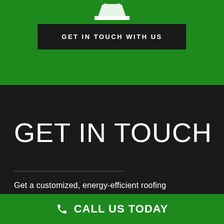[Figure (illustration): Hard hat / helmet icon in white on green background, partially cropped at top]
GET IN TOUCH WITH US
GET IN TOUCH
Get a customized, energy-efficient roofing
CALL US TODAY